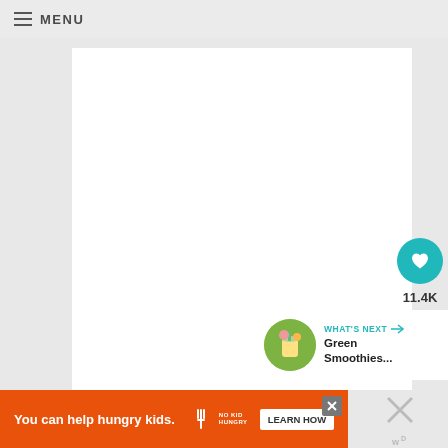≡ MENU
[Figure (screenshot): White content card area — blank white rectangle representing a page/article content area on a gray background website layout]
11.4K
WHAT'S NEXT → Green Smoothies...
You can help hungry kids. NO KID HUNGRY LEARN HOW